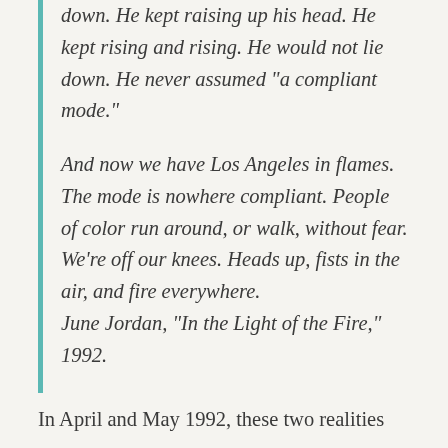down. He kept raising up his head. He kept rising and rising. He would not lie down. He never assumed “a compliant mode.”
And now we have Los Angeles in flames. The mode is nowhere compliant. People of color run around, or walk, without fear. We’re off our knees. Heads up, fists in the air, and fire everywhere. June Jordan, “In the Light of the Fire,” 1992.
In April and May 1992, these two realities